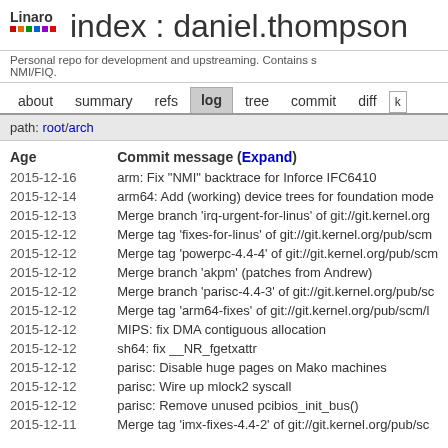index : daniel.thompson
Personal repo for development and upstreaming. Contains s NMI/FIQ.
about  summary  refs  log  tree  commit  diff
path: root/arch
| Age | Commit message (Expand) |
| --- | --- |
| 2015-12-16 | arm: Fix "NMI" backtrace for Inforce IFC6410 |
| 2015-12-14 | arm64: Add (working) device trees for foundation mode |
| 2015-12-13 | Merge branch 'irq-urgent-for-linus' of git://git.kernel.org |
| 2015-12-12 | Merge tag 'fixes-for-linus' of git://git.kernel.org/pub/scm |
| 2015-12-12 | Merge tag 'powerpc-4.4-4' of git://git.kernel.org/pub/scm |
| 2015-12-12 | Merge branch 'akpm' (patches from Andrew) |
| 2015-12-12 | Merge branch 'parisc-4.4-3' of git://git.kernel.org/pub/sc |
| 2015-12-12 | Merge tag 'arm64-fixes' of git://git.kernel.org/pub/scm/l |
| 2015-12-12 | MIPS: fix DMA contiguous allocation |
| 2015-12-12 | sh64: fix __NR_fgetxattr |
| 2015-12-12 | parisc: Disable huge pages on Mako machines |
| 2015-12-12 | parisc: Wire up mlock2 syscall |
| 2015-12-12 | parisc: Remove unused pcibios_init_bus() |
| 2015-12-11 | Merge tag 'imx-fixes-4.4-2' of git://git.kernel.org/pub/sc |